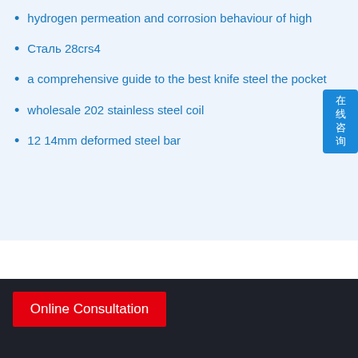hydrogen permeation and corrosion behaviour of high
Сталь 28crs4
a comprehensive guide to the best knife steel the pocket
wholesale 202 stainless steel coil
12 14mm deformed steel bar
Online Consultation